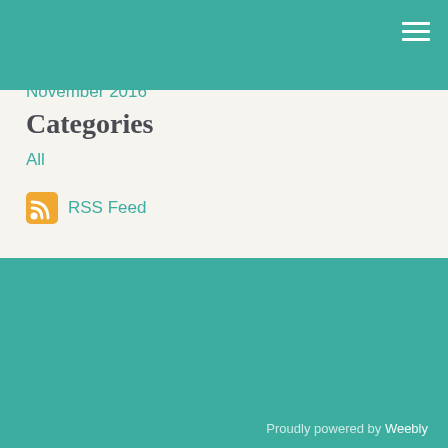July 2017
March 2017
January 2017
November 2016
Categories
All
RSS Feed
Proudly powered by Weebly